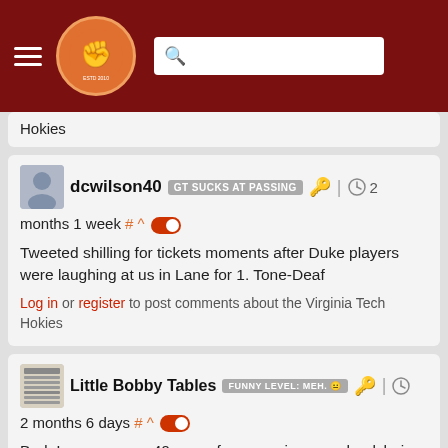The Key Play — navigation header with logo and search bar
Hokies
dcwilson40  GT SUCKS AT PASSING  🔑 | ⏱ 2 months 1 week # ^ 🔴
Tweeted shilling for tickets moments after Duke players were laughing at us in Lane for 1. Tone-Deaf
Log in or register to post comments about the Virginia Tech Hokies
Little Bobby Tables  FUNNY LEVEL: MEH. 😐  🔑 | ⏱
2 months 6 days # ^ 🔴
Bud, I can see you 40 years from now in your wheelchair, telling stories of the glory days of Tech